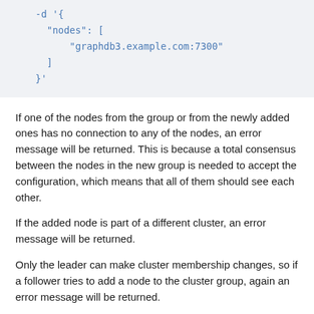[Figure (screenshot): Code block showing JSON with nodes array containing graphdb3.example.com:7300]
If one of the nodes from the group or from the newly added ones has no connection to any of the nodes, an error message will be returned. This is because a total consensus between the nodes in the new group is needed to accept the configuration, which means that all of them should see each other.
If the added node is part of a different cluster, an error message will be returned.
Only the leader can make cluster membership changes, so if a follower tries to add a node to the cluster group, again an error message will be returned.
The added node should be either empty or in the same state as the cluster, which means that it should have the same repositories and namespaces as the nodes in the cluster. If one